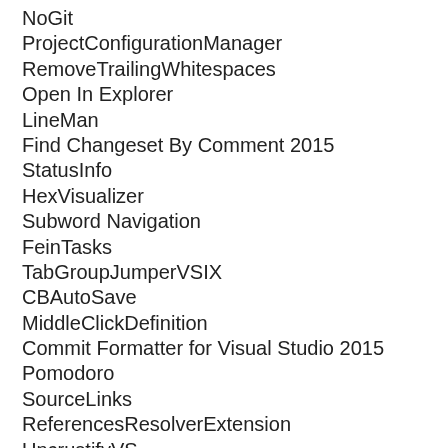NoGit
ProjectConfigurationManager
RemoveTrailingWhitespaces
Open In Explorer
LineMan
Find Changeset By Comment 2015
StatusInfo
HexVisualizer
Subword Navigation
FeinTasks
TabGroupJumperVSIX
CBAutoSave
MiddleClickDefinition
Commit Formatter for Visual Studio 2015
Pomodoro
SourceLinks
ReferencesResolverExtension
UncrustifyVS